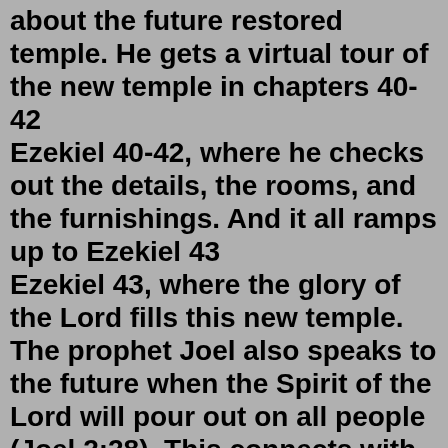about the future restored temple. He gets a virtual tour of the new temple in chapters 40-42 Ezekiel 40-42, where he checks out the details, the rooms, and the furnishings. And it all ramps up to Ezekiel 43 Ezekiel 43, where the glory of the Lord fills this new temple. The prophet Joel also speaks to the future when the Spirit of the Lord will pour out on all people (Joel 2:28). This connects with chapter 3 Joel 3, where the Lord says He will dwell with His people. There will be a physical presence of the Lord among those who are His. So God dwelling with His people is connected with the Spirit being poured